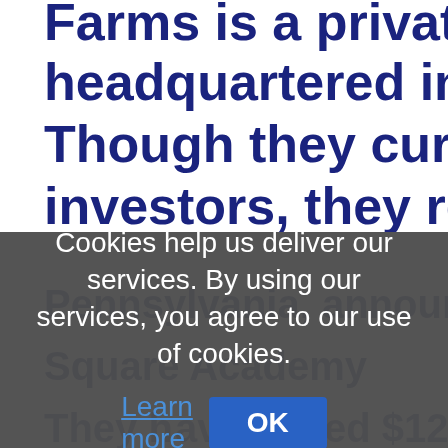Farms is a private company headquartered in Brooklyn, New York. Though they currently only have investors, they recently announced
[Figure (screenshot): Cookie consent overlay dialog with dark semi-transparent background. Text reads: 'Cookies help us deliver our services. By using our services, you agree to our use of cookies. Learn more' with a blue 'Learn more' link and an 'OK' button in blue.]
They raised $120 milli...